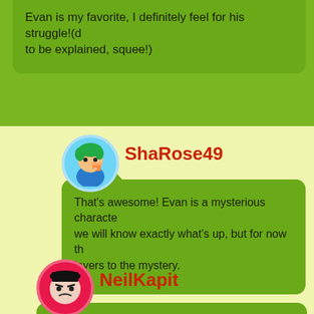Evan is my favorite, I definitely feel for his struggle!(details to be explained, squee!)
[Figure (illustration): Avatar of ShaRose49: anime-style character with green hair drinking from a cup, in a blue circle]
ShaRose49
That’s awesome! Evan is a mysterious character. we will know exactly what’s up, but for now there are layers to the mystery.
[Figure (illustration): Avatar of NeilKapit: cartoon character with black hat and angry expression, in a pink/red circle]
NeilKapit